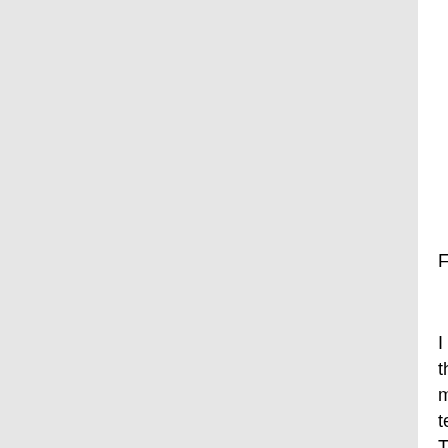being put through the deinterlacer (when c... portions of the frame which show combing damage even farther. You might do that wh... lower thirds, credits "on top" or beside prog... screen credit roll)
For some reason I cannot see the test video (I'll...
I do understand the concept of interlaced broade... the temporal resolution is 50 Hz and the vertica... motion scenes. I do understand this is different ... telecined.
There is no misunderstanding related to this.
The one thing that's still not "solved" here is the... on. Yes, you can use many filters (algorithms) t... result. However, it's possible doing that would b... critically important that the result would be gua... whether or not I can "see" the difference depend...
If it helps to understand, this is not my job and n... stuff. I have a lot of videos here that I want to p... NOT have time to closely analyse each of them...